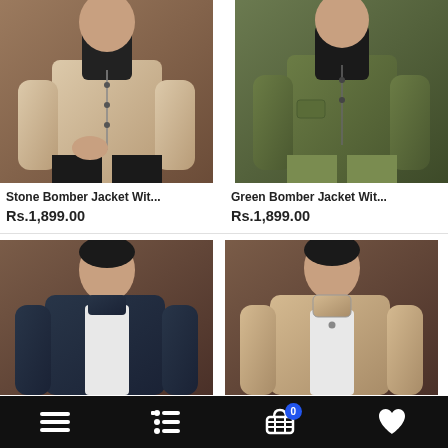[Figure (photo): Stone Bomber Jacket product photo - male model wearing beige/stone bomber jacket with black turtleneck, brown background]
[Figure (photo): Green Bomber Jacket product photo - male model wearing olive green bomber jacket with black turtleneck and olive pants, brown background]
Stone Bomber Jacket Wit...
Green Bomber Jacket Wit...
Rs.1,899.00
Rs.1,899.00
[Figure (photo): Navy Bomber Jacket product photo - male model wearing dark navy bomber jacket, brown background]
[Figure (photo): Beige Bomber Jacket product photo - male model wearing beige/stone bomber jacket, brown background]
Navigation bar with menu, filter, cart (0), and wishlist icons